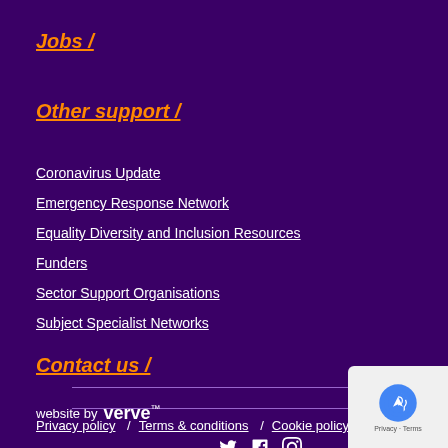Jobs /
Other support /
Coronavirus Update
Emergency Response Network
Equality Diversity and Inclusion Resources
Funders
Sector Support Organisations
Subject Specialist Networks
Contact us /
Privacy policy  /  Terms & conditions  /  Cookie policy
website by verve